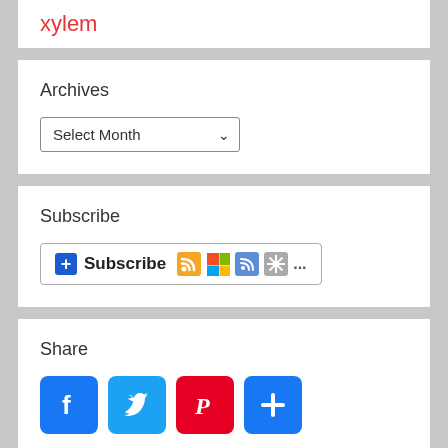xylem
Archives
Select Month
Subscribe
[Figure (other): Subscribe button with RSS feed and social bookmark icons]
Share
[Figure (other): Social share icons: Facebook, Twitter, Pinterest, Add/More]